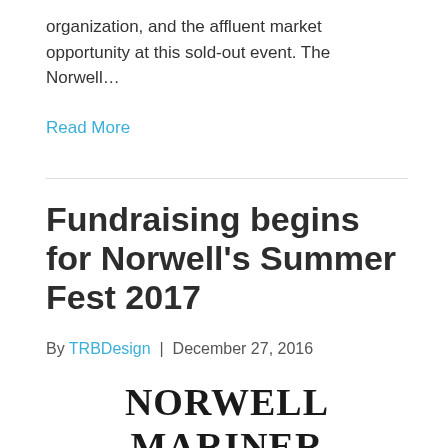organization, and the affluent market opportunity at this sold-out event. The Norwell…
Read More
Fundraising begins for Norwell's Summer Fest 2017
By TRBDesign | December 27, 2016
[Figure (logo): NORWELL MARINER logo in bold serif font, with WICKED and NORWELL text below in heavy sans-serif]